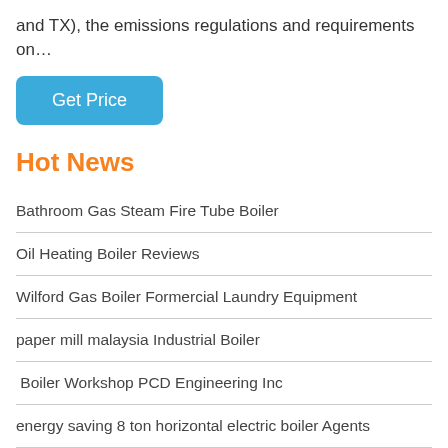and TX), the emissions regulations and requirements on…
[Figure (other): Blue rounded button labeled 'Get Price']
Hot News
Bathroom Gas Steam Fire Tube Boiler
Oil Heating Boiler Reviews
Wilford Gas Boiler Formercial Laundry Equipment
paper mill malaysia Industrial Boiler
Boiler Workshop PCD Engineering Inc
energy saving 8 ton horizontal electric boiler Agents